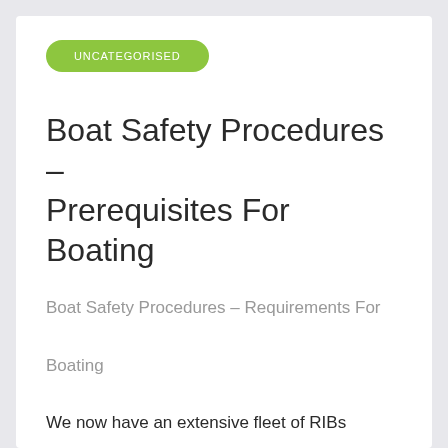UNCATEGORISED
Boat Safety Procedures – Prerequisites For Boating
Boat Safety Procedures – Requirements For Boating
We now have an extensive fleet of RIBs available for security boat filming & hire boat hire UK wide with rates starting from